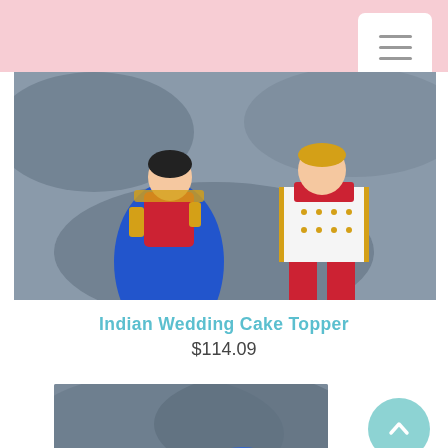[Figure (photo): Indian wedding cake topper figurines — a female figure in blue lehenga with gold trim and a male figure in red sherwani with gold details, photographed against a rocky background]
Indian Wedding Cake Topper
$114.09
[Figure (photo): Two cute chibi-style Indian wedding cake topper dolls — a bride with dark hair and a red hair band, and a groom wearing a blue turban with gold details, both with simple round white faces and blue dot eyes]